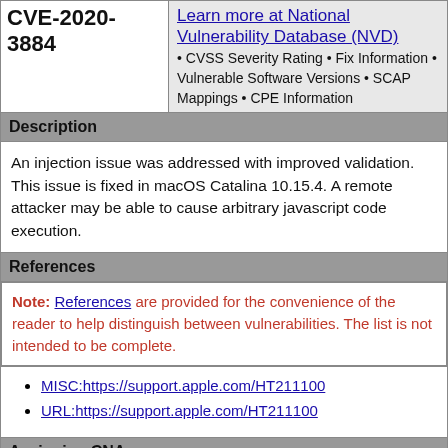CVE-2020-3884
Learn more at National Vulnerability Database (NVD) • CVSS Severity Rating • Fix Information • Vulnerable Software Versions • SCAP Mappings • CPE Information
Description
An injection issue was addressed with improved validation. This issue is fixed in macOS Catalina 10.15.4. A remote attacker may be able to cause arbitrary javascript code execution.
References
Note: References are provided for the convenience of the reader to help distinguish between vulnerabilities. The list is not intended to be complete.
MISC:https://support.apple.com/HT211100
URL:https://support.apple.com/HT211100
Assigning CNA
Apple Inc.
Date Record Created